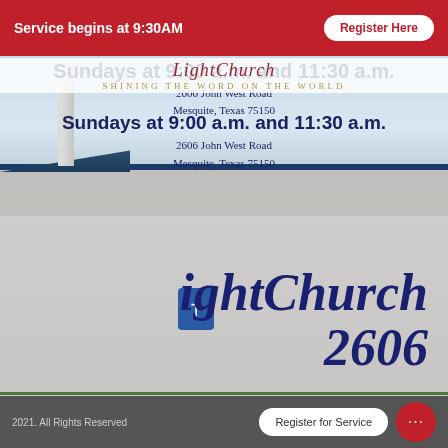Service begins at 9:30AM  Register Here
[Figure (photo): Light Church building exterior with 'LightChurch 2606' text on the wall, showing the church facade with steeple against a cloudy sky. Overlaid text shows service times and address.]
Sundays at 9:00 a.m. and 11:30 a.m.
2606 John West Road
Mesquite, Texas 75150
2021. All Rights Reserved    Register for Service  •••